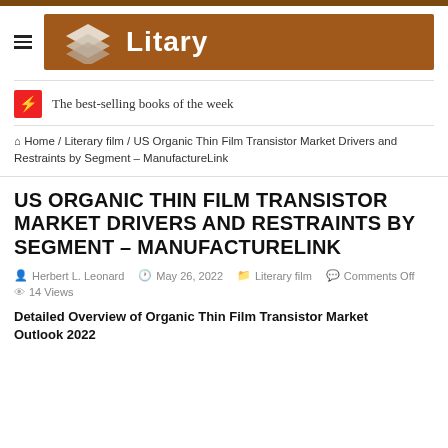[Figure (logo): Litary website logo: brown banner with stacked pages icon and 'Litary' text in white]
The best-selling books of the week
Home / Literary film / US Organic Thin Film Transistor Market Drivers and Restraints by Segment – ManufactureLink
US ORGANIC THIN FILM TRANSISTOR MARKET DRIVERS AND RESTRAINTS BY SEGMENT – MANUFACTURELINK
Herbert L. Leonard   May 26, 2022   Literary film   Comments Off   14 Views
Detailed Overview of Organic Thin Film Transistor Market Outlook 2022